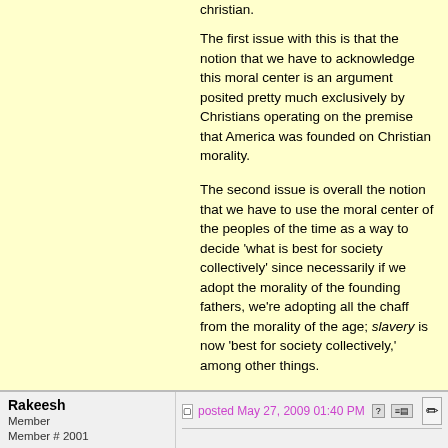christian.
The first issue with this is that the notion that we have to acknowledge this moral center is an argument posited pretty much exclusively by Christians operating on the premise that America was founded on Christian morality.
The second issue is overall the notion that we have to use the moral center of the peoples of the time as a way to decide 'what is best for society collectively' since necessarily if we adopt the morality of the founding fathers, we're adopting all the chaff from the morality of the age; slavery is now 'best for society collectively,' among other things.
Posts: 15421 | Registered: Aug 2005 | IP: Logged | Report Post
Rakeesh
Member
Member # 2001
posted May 27, 2009 01:40 PM
quote:
Lyrhawn, and others, just as a reminder, I did not say that meteorites would fall on our cities because of any sin. I said that when God's authority as Creator is directly defied by the highest government in the land, there must be consequences, including a major withdrawal of divine protection and blessing. Since we living in a shooting gallery in our solar system, this is a vital necessity, which we can scarcely afford to do without.